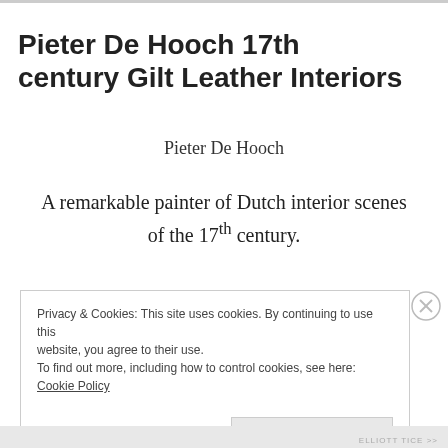Pieter De Hooch 17th century Gilt Leather Interiors
Pieter De Hooch
A remarkable painter of Dutch interior scenes of the 17th century.
Privacy & Cookies: This site uses cookies. By continuing to use this website, you agree to their use.
To find out more, including how to control cookies, see here: Cookie Policy
Close and accept